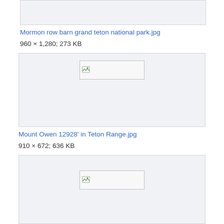[Figure (photo): Partially visible image box at top, clipped from above - broken image placeholder]
Mormon row barn grand teton national park.jpg
960 × 1,280; 273 KB
[Figure (photo): Image box with broken image placeholder icon centered]
Mount Owen 12928' in Teton Range.jpg
910 × 672; 636 KB
[Figure (photo): Image box at bottom with broken image placeholder icon centered, partially visible]